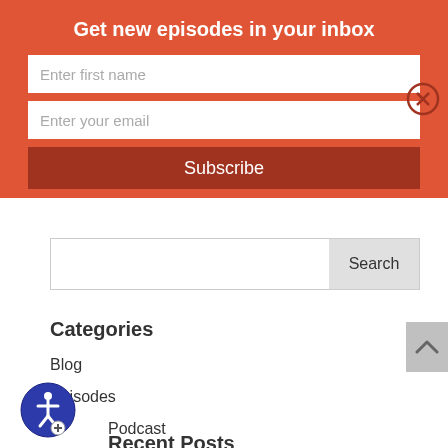Get new episodes in your inbox
Enter first name
Enter your email
Subscribe
[Figure (screenshot): Search bar with Search button]
Categories
Blog
Episodes
Podcast
Recent Posts